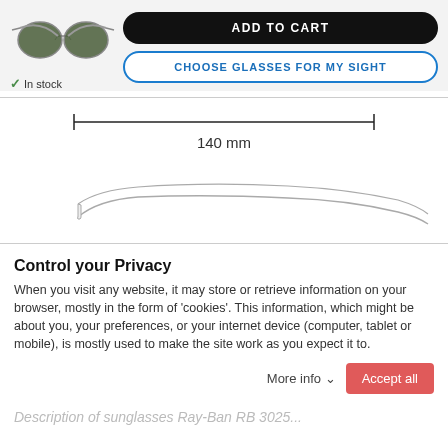[Figure (photo): Ray-Ban aviator sunglasses thumbnail image]
In stock
ADD TO CART
CHOOSE GLASSES FOR MY SIGHT
[Figure (engineering-diagram): Ruler/measurement diagram showing 140 mm width]
[Figure (illustration): Side profile outline illustration of glasses temple/arm]
Control your Privacy
When you visit any website, it may store or retrieve information on your browser, mostly in the form of 'cookies'. This information, which might be about you, your preferences, or your internet device (computer, tablet or mobile), is mostly used to make the site work as you expect it to.
More info ⌄
Accept all
Description of sunglasses Ray-Ban RB 3025...